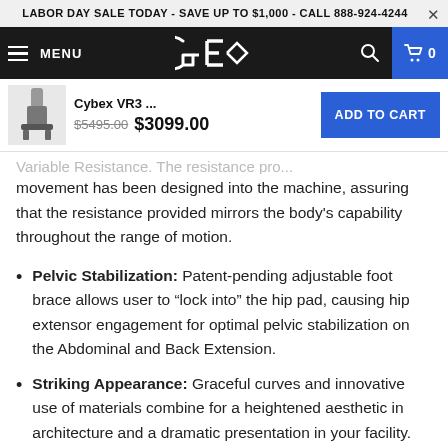LABOR DAY SALE TODAY - SAVE UP TO $1,000 - CALL 888-924-4244
[Figure (logo): GE fitness equipment logo in white on black navigation bar with MENU hamburger, search icon, and cart icon showing 0]
[Figure (screenshot): Sticky product bar showing Cybex VR3 thumbnail, name 'Cybex VR3 ...', prices $5495.00 crossed out and $3099.00, and ADD TO CART button]
movement has been designed into the machine, assuring that the resistance provided mirrors the body's capability throughout the range of motion.
Pelvic Stabilization: Patent-pending adjustable foot brace allows user to “lock into” the hip pad, causing hip extensor engagement for optimal pelvic stabilization on the Abdominal and Back Extension.
Striking Appearance: Graceful curves and innovative use of materials combine for a heightened aesthetic in architecture and a dramatic presentation in your facility.
Engineered for Safety: The safety of every user is